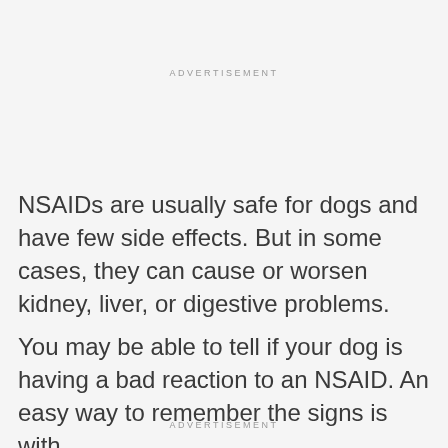ADVERTISEMENT
NSAIDs are usually safe for dogs and have few side effects. But in some cases, they can cause or worsen kidney, liver, or digestive problems.
You may be able to tell if your dog is having a bad reaction to an NSAID. An easy way to remember the signs is with
ADVERTISEMENT